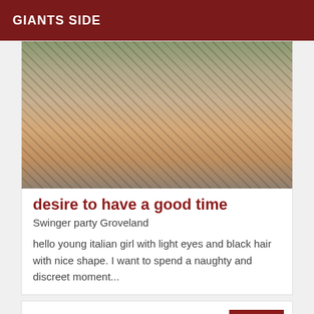GIANTS SIDE
[Figure (photo): Close-up photo of person's legs wearing shorts, standing on a decorative metal grate surface outdoors]
desire to have a good time
Swinger party Groveland
hello young italian girl with light eyes and black hair with nice shape. I want to spend a naughty and discreet moment...
Online